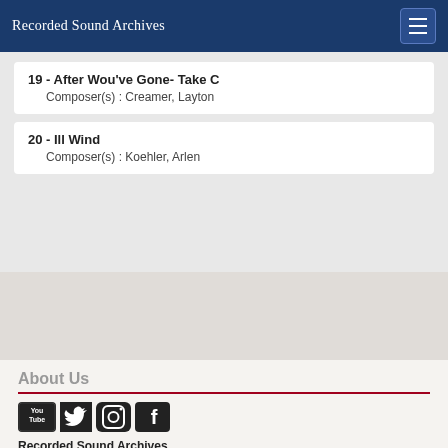Recorded Sound Archives
19 - After Wou've Gone- Take C
Composer(s) : Creamer, Layton
20 - Ill Wind
Composer(s) : Koehler, Arlen
About Us
[Figure (logo): Social media icons: YouTube, Twitter, Instagram, Facebook]
Recorded Sound Archives
S. E. Wimberly Library
RM 510/515
777 Glades Road